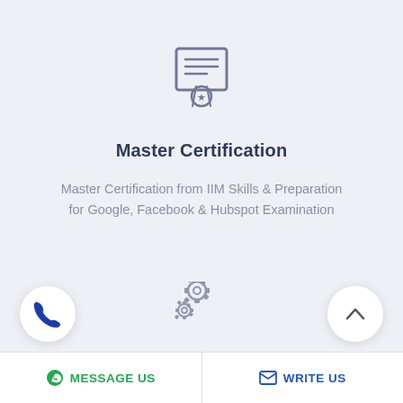[Figure (illustration): Certificate/award icon — a rectangular certificate with horizontal lines and a medal/ribbon at the bottom, gray outline style]
Master Certification
Master Certification from IIM Skills & Preparation for Google, Facebook & Hubspot Examination
[Figure (illustration): Two interlocking gear icons, gray outline style]
Tool Driven Course
MESSAGE US   WRITE US